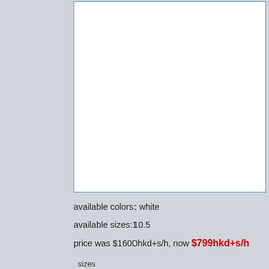[Figure (photo): Product image area — white box with blue border, image not visible in this crop]
available colors: white
available sizes:10.5
price was $1600hkd+s/h, now $799hkd+s/h
sizes
10.5 ▾
Add to Cart
Tags: clearence sale vans, in store, NEW ARRIVALS, supreme, supreme shoes, vans, vans shoes   Category: NEW AR…